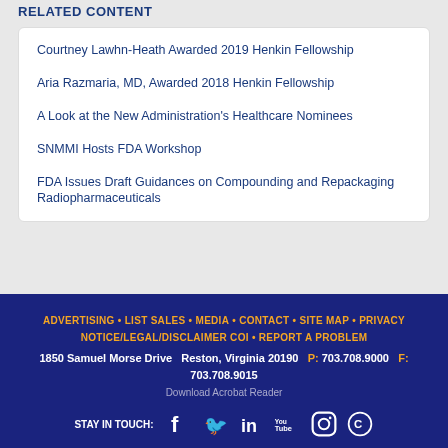RELATED CONTENT
Courtney Lawhn-Heath Awarded 2019 Henkin Fellowship
Aria Razmaria, MD, Awarded 2018 Henkin Fellowship
A Look at the New Administration's Healthcare Nominees
SNMMI Hosts FDA Workshop
FDA Issues Draft Guidances on Compounding and Repackaging Radiopharmaceuticals
ADVERTISING • LIST SALES • MEDIA • CONTACT • SITE MAP • PRIVACY NOTICE/LEGAL/DISCLAIMER COI • REPORT A PROBLEM
1850 Samuel Morse Drive  Reston, Virginia 20190  P: 703.708.9000  F: 703.708.9015
Download Acrobat Reader
STAY IN TOUCH: